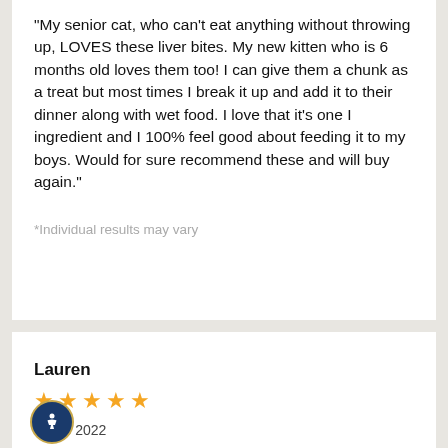“My senior cat, who can’t eat anything without throwing up, LOVES these liver bites. My new kitten who is 6 months old loves them too! I can give them a chunk as a treat but most times I break it up and add it to their dinner along with wet food. I love that it’s one I ingredient and I 100% feel good about feeding it to my boys. Would for sure recommend these and will buy again.”
*Individual results may vary
Lauren
★★★★★
Jul 13 2022